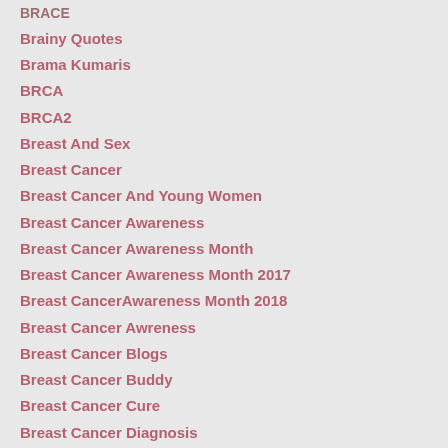BRACE
Brainy Quotes
Brama Kumaris
BRCA
BRCA2
Breast And Sex
Breast Cancer
Breast Cancer And Young Women
Breast Cancer Awareness
Breast Cancer Awareness Month
Breast Cancer Awareness Month 2017
Breast CancerAwareness Month 2018
Breast Cancer Awreness
Breast Cancer Blogs
Breast Cancer Buddy
Breast Cancer Cure
Breast Cancer Diagnosis
Breast Cancer Husband
Breast Cancer Metastisis
Breast Cancer Navinator